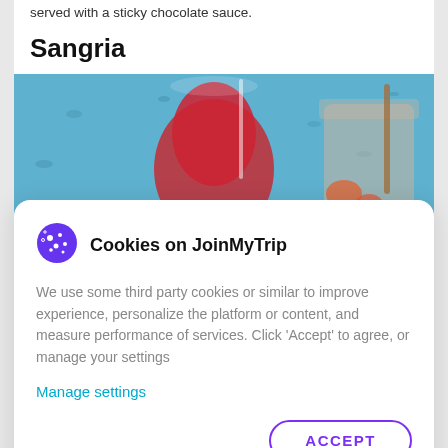served with a sticky chocolate sauce.
Sangria
[Figure (photo): Photo of sangria drinks - a red wine sangria in a large wine glass and a pitcher with fruit, on a blue background]
Cookies on JoinMyTrip
We use some third party cookies or similar to improve experience, personalize the platform or content, and measure performance of services. Click 'Accept' to agree, or manage your settings
Manage settings
ACCEPT
Restaurants to try in